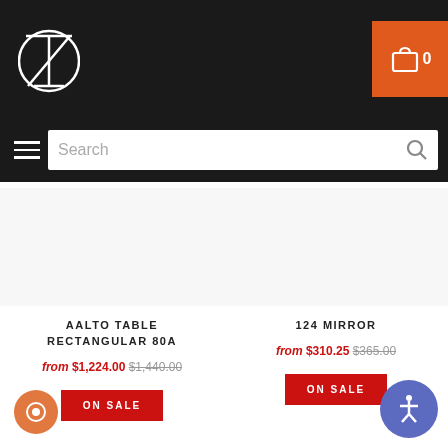Website header with logo and cart icon (0 items)
Search
AALTO TABLE RECTANGULAR 80A
from $1,224.00 $1,440.00
ON SALE
124 MIRROR
from $310.25 $365.00
ON SALE